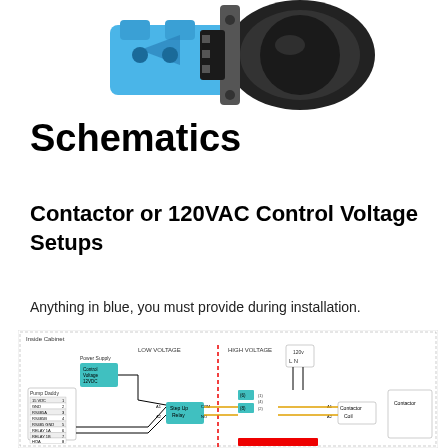[Figure (photo): Photo of a blue and black electrical device/contactor component against a white background]
Schematics
Contactor or 120VAC Control Voltage Setups
Anything in blue, you must provide during installation.
[Figure (schematic): Electrical wiring schematic showing 'Inside Cabinet' with Low Voltage and High Voltage sections. Components include: Power Supply, Control Voltage 12VDC, Step Up Relay, Contactor Coil, Contactor, and Pump Daddy terminal block with terminals: 15 VDC (1), GND (2), RS485A (3), RS485B (4), RS485 GND (5), RELAY 1A (6), RELAY 1B (7), HOA (8). Connections shown with black, orange/yellow, and red wiring. 120V input with L and N terminals. Dashed red vertical line separates Low Voltage and High Voltage sections.]